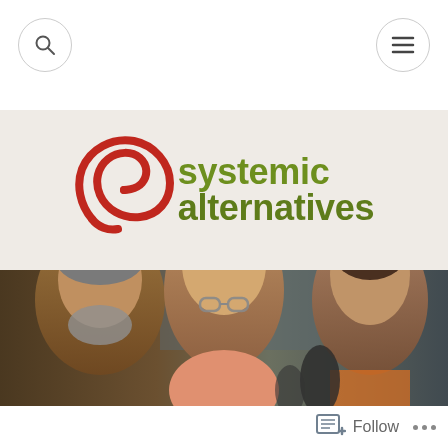[Figure (logo): Systemic Alternatives website screenshot showing search and menu navigation buttons, the Systemic Alternatives logo with a red spiral and olive green text, a photo of three political figures, and a Follow button at the bottom.]
Follow
...